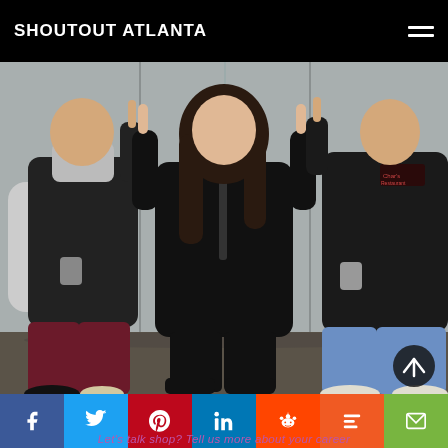SHOUTOUT ATLANTA
[Figure (photo): Three people standing against a corrugated metal wall outdoors. The person in the center is a woman wearing an all-black outfit (jacket and pants) and black boots, pointing upward with both hands. To her left is a man in a dark vest over a gray hoodie and maroon pants, holding a cup. To her right is a man in a black jacket and jeans, also holding a cup. All three are making a number-one gesture with their fingers.]
Let's talk shop? Tell us more about your career